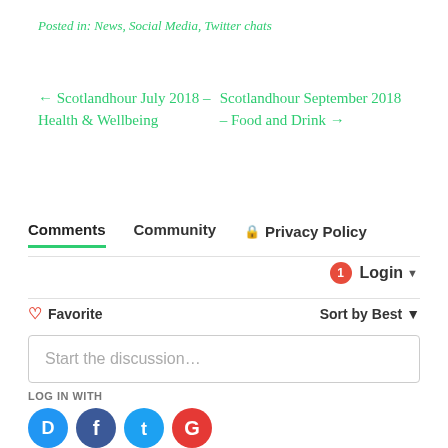Posted in: News, Social Media, Twitter chats
← Scotlandhour July 2018 – Health & Wellbeing
Scotlandhour September 2018 – Food and Drink →
Comments  Community  🔒 Privacy Policy
1  Login ▾
♡ Favorite   Sort by Best ▾
Start the discussion...
LOG IN WITH
OR SIGN UP WITH DISQUS ?